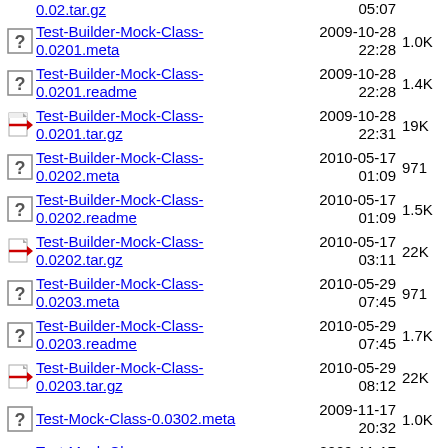0.02.tar.gz  05:07
Test-Builder-Mock-Class-0.0201.meta  2009-10-28 22:28  1.0K
Test-Builder-Mock-Class-0.0201.readme  2009-10-28 22:28  1.4K
Test-Builder-Mock-Class-0.0201.tar.gz  2009-10-28 22:31  19K
Test-Builder-Mock-Class-0.0202.meta  2010-05-17 01:09  971
Test-Builder-Mock-Class-0.0202.readme  2010-05-17 01:09  1.5K
Test-Builder-Mock-Class-0.0202.tar.gz  2010-05-17 03:11  22K
Test-Builder-Mock-Class-0.0203.meta  2010-05-29 07:45  971
Test-Builder-Mock-Class-0.0203.readme  2010-05-29 07:45  1.7K
Test-Builder-Mock-Class-0.0203.tar.gz  2010-05-29 08:12  22K
Test-Mock-Class-0.0302.meta  2009-11-17 20:32  1.0K
Test-Mock-Class-0.0302.readme  2009-11-17 20:32  2.3K